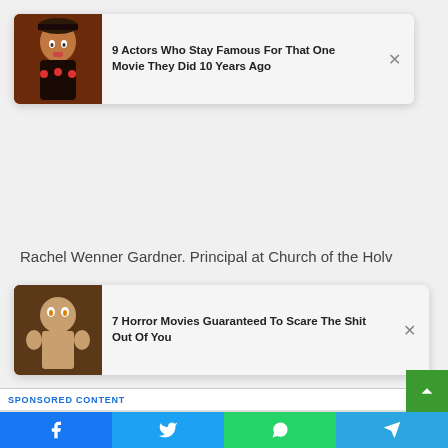[Figure (screenshot): Ad card: image of person in costume with text '9 Actors Who Stay Famous For That One Movie They Did 10 Years Ago' and X close button]
Rachel Wenner Gardner. Principal at Church of the Holv
[Figure (screenshot): Ad card: horror movie image with text '7 Horror Movies Guaranteed To Scare The Shit Out Of You' and X close button]
SPONSORED CONTENT
[Figure (photo): Photo of two women, one whispering to the other]
We Can't Believe It! The Whole Thing Is Juicy Drama
Herbeauty
[Figure (photo): Photo of Gaspard Ulliel at a public event with cameras]
Gaspard Ulliel Died At The Age Of 37 Following A Skiing Accident
[Figure (infographic): Social share bar with Facebook, Twitter, WhatsApp, and Telegram icons]